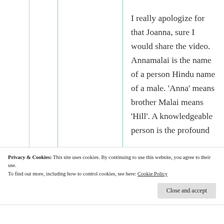I really apologize for that Joanna, sure I would share the video. Annamalai is the name of a person Hindu name of a male. 'Anna' means brother Malai means 'Hill'. A knowledgeable person is the profound
Privacy & Cookies: This site uses cookies. By continuing to use this website, you agree to their use.
To find out more, including how to control cookies, see here: Cookie Policy